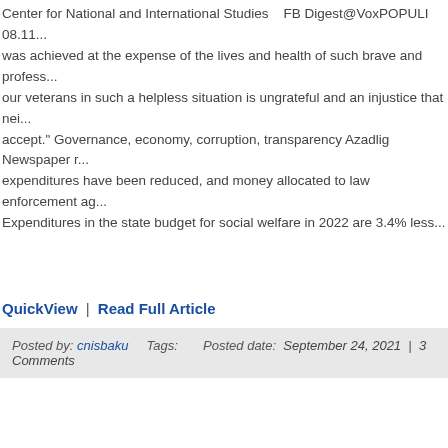Center for National and International Studies   FB Digest@VoxPOPULI 08.11... was achieved at the expense of the lives and health of such brave and profess... our veterans in such a helpless situation is ungrateful and an injustice that nei... accept." Governance, economy, corruption, transparency Azadlig Newspaper r... expenditures have been reduced, and money allocated to law enforcement ag... Expenditures in the state budget for social welfare in 2022 are 3.4% less...
QuickView | Read Full Article
Posted by: cnisbaku   Tags:       Posted date:  September 24, 2021  |  3 Comments